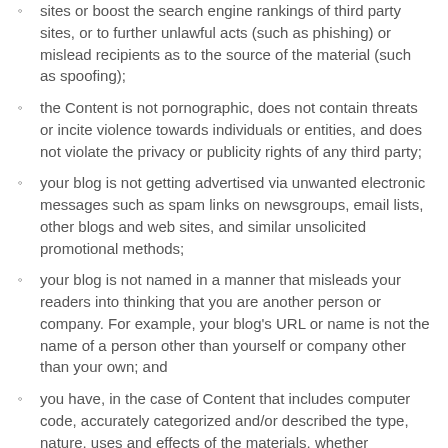sites or boost the search engine rankings of third party sites, or to further unlawful acts (such as phishing) or mislead recipients as to the source of the material (such as spoofing);
the Content is not pornographic, does not contain threats or incite violence towards individuals or entities, and does not violate the privacy or publicity rights of any third party;
your blog is not getting advertised via unwanted electronic messages such as spam links on newsgroups, email lists, other blogs and web sites, and similar unsolicited promotional methods;
your blog is not named in a manner that misleads your readers into thinking that you are another person or company. For example, your blog's URL or name is not the name of a person other than yourself or company other than your own; and
you have, in the case of Content that includes computer code, accurately categorized and/or described the type, nature, uses and effects of the materials, whether requested to do so by Cakestations.com or otherwise.